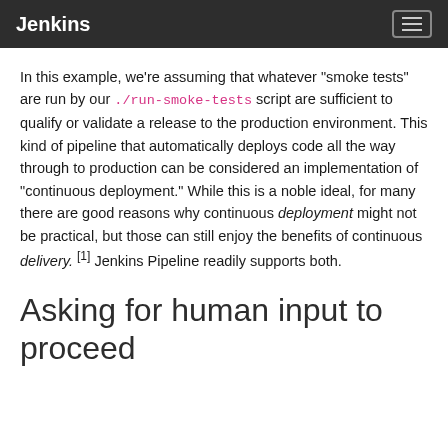Jenkins
In this example, we're assuming that whatever "smoke tests" are run by our ./run-smoke-tests script are sufficient to qualify or validate a release to the production environment. This kind of pipeline that automatically deploys code all the way through to production can be considered an implementation of "continuous deployment." While this is a noble ideal, for many there are good reasons why continuous deployment might not be practical, but those can still enjoy the benefits of continuous delivery. [1] Jenkins Pipeline readily supports both.
Asking for human input to proceed